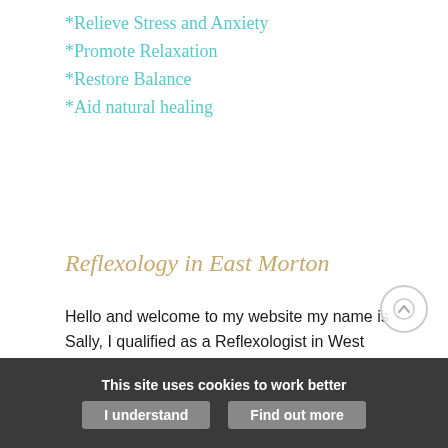*Relieve Stress and Anxiety
*Promote Relaxation
*Restore Balance
*Aid natural healing
Reflexology in East Morton
Hello and welcome to my website my name is Sally, I qualified as a Reflexologist in West Yorkshire in 2000 at The Yorkshire School of Clinical Reflexology and also in Health Spa and…
This site uses cookies to work better
I understand
Find out more